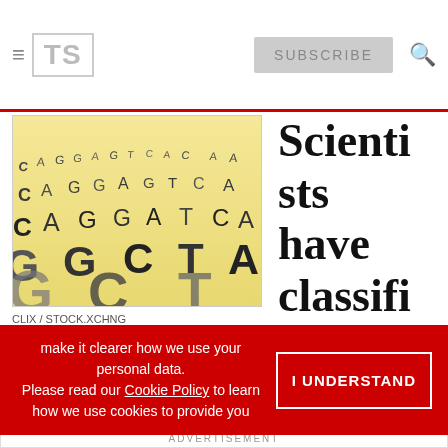TS | SUBSCRIBE
[Figure (photo): Close-up photo of DNA sequence letters (A, G, C, T) printed on a light yellow/cream surface, perspective view showing rows of genetic code letters]
CLIX / STOCK.XCHNG
Scientists have classified which alleles of a
make it clearer how we use your personal data. Please read our Cookie Policy to learn how we use cookies to provide you
I UNDERSTAND
Funding opportunities for crucial cancer research
Apply now
ADVERTISEMENT